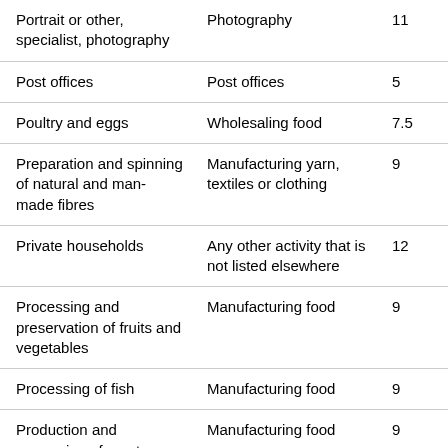| Portrait or other, specialist, photography | Photography | 11 |
| Post offices | Post offices | 5 |
| Poultry and eggs | Wholesaling food | 7.5 |
| Preparation and spinning of natural and man-made fibres | Manufacturing yarn, textiles or clothing | 9 |
| Private households | Any other activity that is not listed elsewhere | 12 |
| Processing and preservation of fruits and vegetables | Manufacturing food | 9 |
| Processing of fish | Manufacturing food | 9 |
| Production and preserving of meat products | Manufacturing food | 9 |